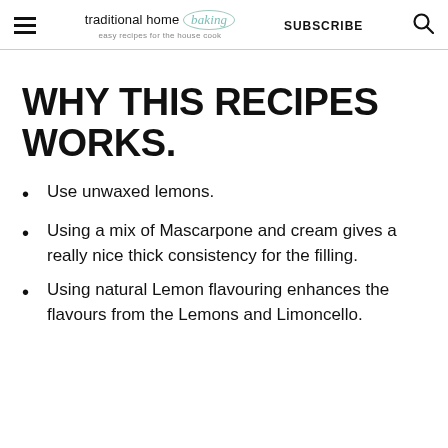traditional home baking — easy recipes for the house cook | SUBSCRIBE
WHY THIS RECIPES WORKS.
Use unwaxed lemons.
Using a mix of Mascarpone and cream gives a really nice thick consistency for the filling.
Using natural Lemon flavouring enhances the flavours from the Lemons and Limoncello.